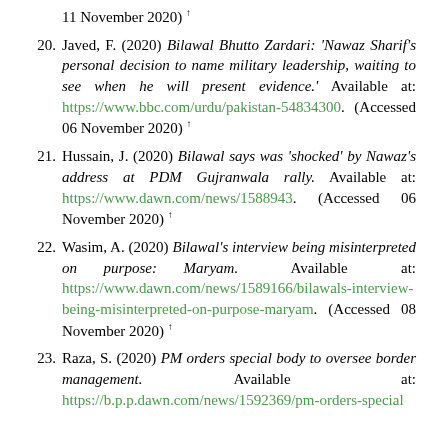11 November 2020) ↑
20. Javed, F. (2020) Bilawal Bhutto Zardari: 'Nawaz Sharif's personal decision to name military leadership, waiting to see when he will present evidence.' Available at: https://www.bbc.com/urdu/pakistan-54834300. (Accessed 06 November 2020) ↑
21. Hussain, J. (2020) Bilawal says was 'shocked' by Nawaz's address at PDM Gujranwala rally. Available at: https://www.dawn.com/news/1588943. (Accessed 06 November 2020) ↑
22. Wasim, A. (2020) Bilawal's interview being misinterpreted on purpose: Maryam. Available at: https://www.dawn.com/news/1589166/bilawals-interview-being-misinterpreted-on-purpose-maryam. (Accessed 08 November 2020) ↑
23. Raza, S. (2020) PM orders special body to oversee border management. Available at: https://b.p.p.dawn.com/news/1592369/pm-orders-special...